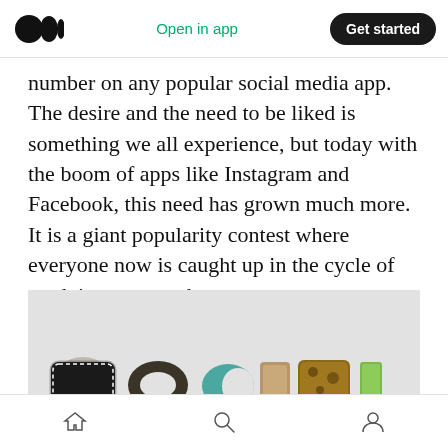Open in app | Get started
number on any popular social media app. The desire and the need to be liked is something we all experience, but today with the boom of apps like Instagram and Facebook, this need has grown much more. It is a giant popularity contest where everyone now is caught up in the cycle of outdoing one another.
[Figure (photo): Photo of decorative letter-shaped objects spelling 'SOCIAL' on a light grey background, visible from the bottom portion of the image]
Home | Search | Profile navigation icons